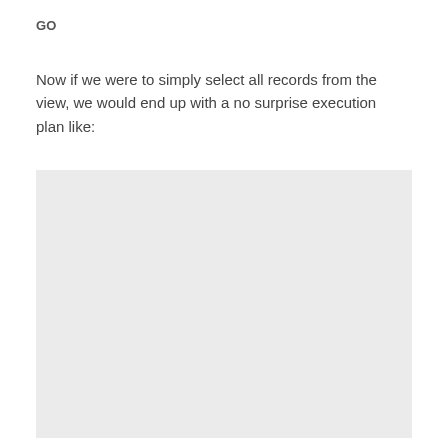GO
Now if we were to simply select all records from the view, we would end up with a no surprise execution plan like:
[Figure (screenshot): A light gray rectangular area representing a screenshot or image of an execution plan (content not visible)]